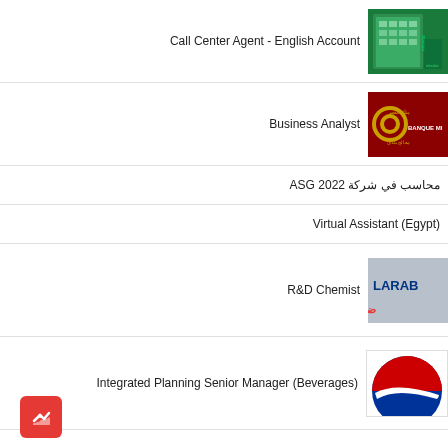Call Center Agent - English Account
[Figure (logo): Etisalat company logo - green building exterior with Etisalat branding]
Business Analyst
[Figure (logo): Banque Misr logo - red background with Arabic and French text]
محاسب في شركة ASG 2022
Virtual Assistant (Egypt)
R&D Chemist
[Figure (logo): LARAIB logo with Arabic text - gray background]
Integrated Planning Senior Manager (Beverages)
[Figure (logo): Pepsi logo - red and blue circle on white background]